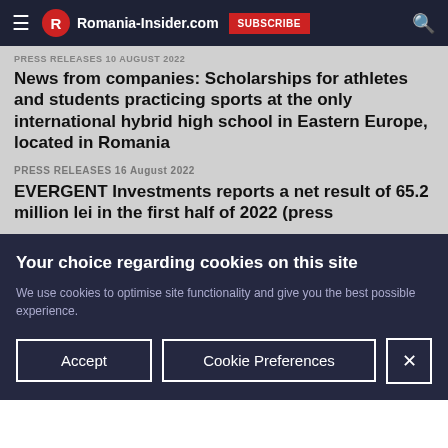Romania-Insider.com
PRESS RELEASES 10 August 2022
News from companies: Scholarships for athletes and students practicing sports at the only international hybrid high school in Eastern Europe, located in Romania
PRESS RELEASES 16 August 2022
EVERGENT Investments reports a net result of 65.2 million lei in the first half of 2022 (press
Your choice regarding cookies on this site
We use cookies to optimise site functionality and give you the best possible experience.